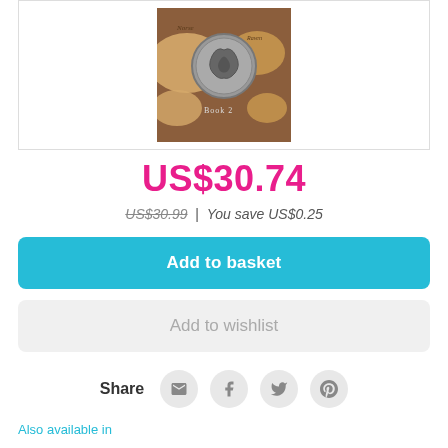[Figure (photo): Book cover image for a Norse-themed book (Book 2) featuring a coin and map background]
US$30.74
US$30.99 | You save US$0.25
Add to basket
Add to wishlist
Share
Also available in
Paperback US$16.53